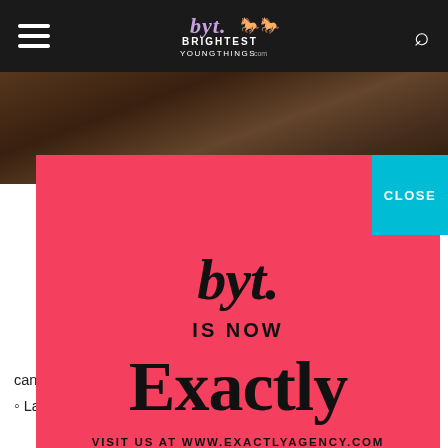BYT Brightest Young Things - navigation header with hamburger menu, logo, and search icon
[Figure (photo): Dark brown photo strip showing leather/bag material in background]
[Figure (infographic): Red/pink modal popup overlay on BYT (Brightest Young Things) website showing rebranding announcement: byt. IS NOW Exactly. VISIT US AT WWW.EXACTLYAGENCY.COM. A teal CLOSE button appears in upper right corner.]
can grab $10 passports here.
Later, if you missed BOS last weekend, semi-make up for it by